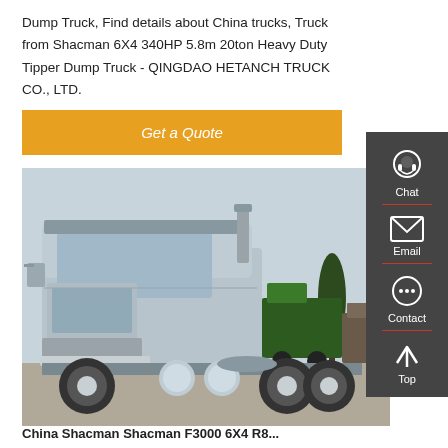Dump Truck, Find details about China trucks, Truck from Shacman 6X4 340HP 5.8m 20ton Heavy Duty Tipper Dump Truck - QINGDAO HETANCH TRUCK CO., LTD.
[Figure (other): Get a Quote button — orange/amber rectangular button with italic white text]
[Figure (photo): A silver/grey heavy-duty truck (tractor unit) parked in a lot with other trucks visible in the background including a green truck, trees, and utility poles. The truck appears to be a Shacman or similar Chinese heavy-duty semi-truck.]
China Shacman Shacman F3000 6X4 R8...